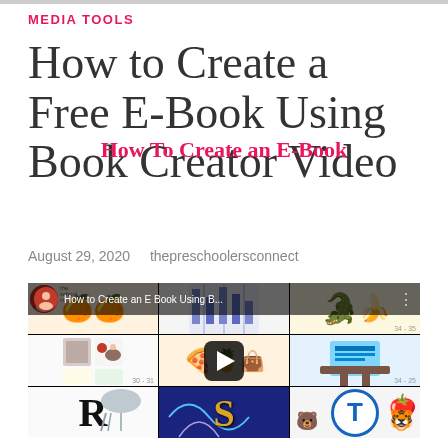MEDIA TOOLS
How to Create a Free E-Book Using Book Creator Video
August 29, 2020   thepreschoolersconnect
[Figure (screenshot): YouTube video thumbnail showing a grid of colorful children's e-book pages featuring letters R, S, T and various animals and objects, with a play button overlay. Video title reads 'How to Create an E Book Using B...']
How To Create an E-Book